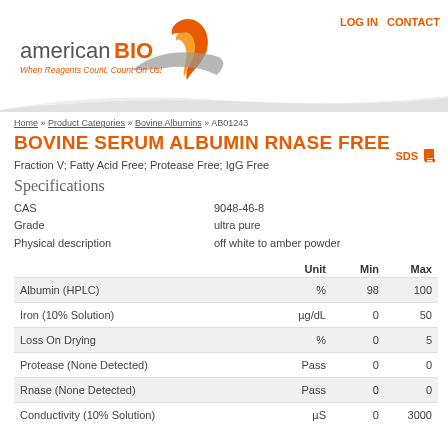[Figure (logo): americanBIO logo with orange flame graphic and tagline 'When Reagents Count, Count On Us!']
LOG IN   CONTACT
Home » Product Categories » Bovine Albumins » AB01243
BOVINE SERUM ALBUMIN RNASE FREE
SDS
Fraction V; Fatty Acid Free; Protease Free; IgG Free
Specifications
CAS   9048-46-8
Grade   ultra pure
Physical description   off white to amber powder
|  | Unit | Min | Max |
| --- | --- | --- | --- |
| Albumin (HPLC) | % | 98 | 100 |
| Iron (10% Solution) | µg/dL | 0 | 50 |
| Loss On Drying | % | 0 | 5 |
| Protease (None Detected) | Pass | 0 | 0 |
| Rnase (None Detected) | Pass | 0 | 0 |
| Conductivity (10% Solution) | µS | 0 | 3000 |